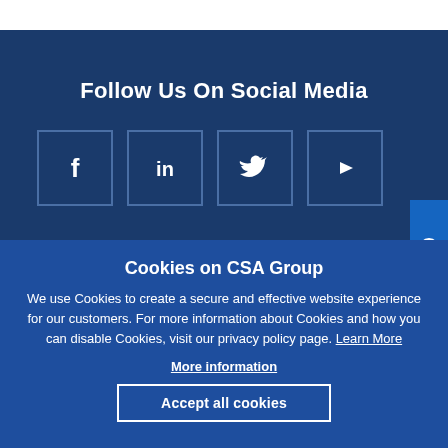Follow Us On Social Media
[Figure (illustration): Four social media icon boxes: Facebook (f), LinkedIn (in), Twitter (bird icon), YouTube (play button icon) — white outlined squares on dark blue background]
Get Our Newsletter
Cookies on CSA Group
We use Cookies to create a secure and effective website experience for our customers. For more information about Cookies and how you can disable Cookies, visit our privacy policy page. Learn More
More information
Accept all cookies